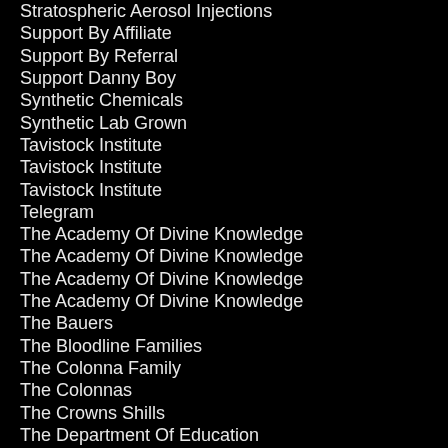Stratospheric Aerosol Injections
Support By Affiliate
Support By Referral
Support Danny Boy
Synthetic Chemicals
Synthetic Lab Grown
Tavistock Institute
Tavistock Institute
Tavistock Institute
Telegram
The Academy Of Divine Knowledge
The Academy Of Divine Knowledge
The Academy Of Divine Knowledge
The Academy Of Divine Knowledge
The Bauers
The Bloodline Families
The Colonna Family
The Colonnas
The Crowns Shills
The Department Of Education
The Federal Reserve
The Gates Family
The Germ Theory Hoax
The Grand Lodge Of Ireland
The Great Culling
The Great Reset